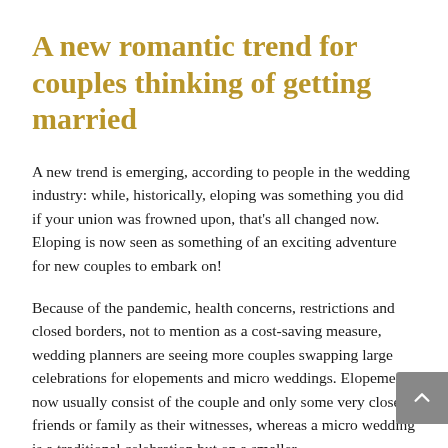A new romantic trend for couples thinking of getting married
A new trend is emerging, according to people in the wedding industry: while, historically, eloping was something you did if your union was frowned upon, that's all changed now. Eloping is now seen as something of an exciting adventure for new couples to embark on!
Because of the pandemic, health concerns, restrictions and closed borders, not to mention as a cost-saving measure, wedding planners are seeing more couples swapping large celebrations for elopements and micro weddings. Elopements now usually consist of the couple and only some very close friends or family as their witnesses, whereas a micro wedding is a traditional celebration but on a smaller